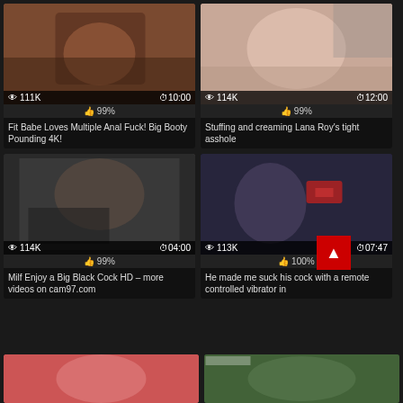[Figure (screenshot): Video thumbnail grid showing adult content video cards with view counts, durations, ratings, and titles]
111K views | 10:00 | 99% | Fit Babe Loves Multiple Anal Fuck! Big Booty Pounding 4K!
114K views | 12:00 | 99% | Stuffing and creaming Lana Roy's tight asshole
114K views | 04:00 | 99% | Milf Enjoy a Big Black Cock HD – more videos on cam97.com
113K views | 07:47 | 100% | He made me suck his cock with a remote controlled vibrator in
[Figure (screenshot): Partial thumbnails at bottom of page for two more videos]